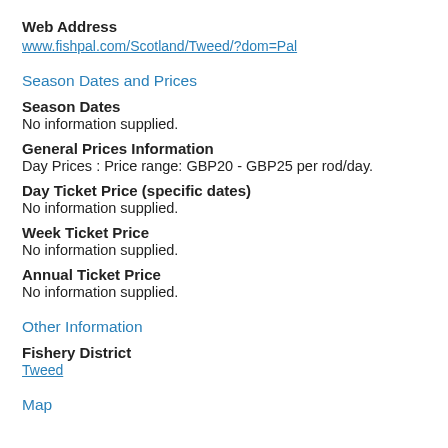Web Address
www.fishpal.com/Scotland/Tweed/?dom=Pal
Season Dates and Prices
Season Dates
No information supplied.
General Prices Information
Day Prices : Price range: GBP20 - GBP25 per rod/day.
Day Ticket Price (specific dates)
No information supplied.
Week Ticket Price
No information supplied.
Annual Ticket Price
No information supplied.
Other Information
Fishery District
Tweed
Map